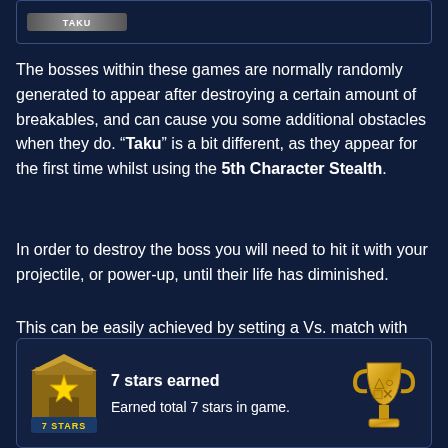[Figure (screenshot): Top portion of a game UI card with a banner/label element partially visible]
The bosses within these games are normally randomly generated to appear after destroying a certain amount of breakables, and can cause you some additional obstacles when they do. “Taku” is a bit different, as they appear for the first time whilst using the 5th Character Stealth.
In order to destroy the boss you will need to hit it with your projectile, or power-up, until their life has diminished.
This can be easily achieved by setting a Vs. match with both of the players selecting Stealth.
[Figure (screenshot): Achievement card showing '7 stars earned' with a star icon on the left and a gold trophy on the right. Text reads: Earned total 7 stars in game.]